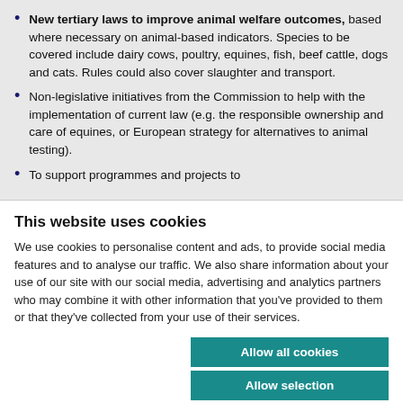New tertiary laws to improve animal welfare outcomes, based where necessary on animal-based indicators. Species to be covered include dairy cows, poultry, equines, fish, beef cattle, dogs and cats. Rules could also cover slaughter and transport.
Non-legislative initiatives from the Commission to help with the implementation of current law (e.g. the responsible ownership and care of equines, or European strategy for alternatives to animal testing).
To support programmes and projects to
This website uses cookies
We use cookies to personalise content and ads, to provide social media features and to analyse our traffic. We also share information about your use of our site with our social media, advertising and analytics partners who may combine it with other information that you've provided to them or that they've collected from your use of their services.
Allow all cookies
Allow selection
Use necessary cookies only
Necessary | Preferences | Statistics | Show